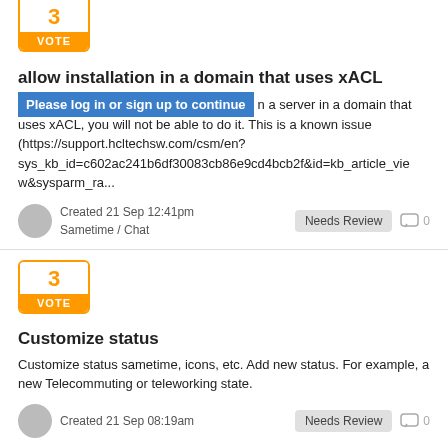[Figure (other): Vote box showing number 3 with orange VOTE button, partially cropped at top]
allow installation in a domain that uses xACL
Please log in or sign up to continue on a server in a domain that uses xACL, you will not be able to do it. This is a known issue (https://support.hcltechsw.com/csm/en?sys_kb_id=c602ac241b6df30083cb86e9cd4bcb2f&id=kb_article_view&sysparm_ra...
Created 21 Sep 12:41pm
Sametime / Chat
Needs Review  0
[Figure (other): Vote box showing number 3 with orange VOTE button]
Customize status
Customize status sametime, icons, etc. Add new status. For example, a new Telecommuting or teleworking state.
Created 21 Sep 08:19am
Needs Review  0